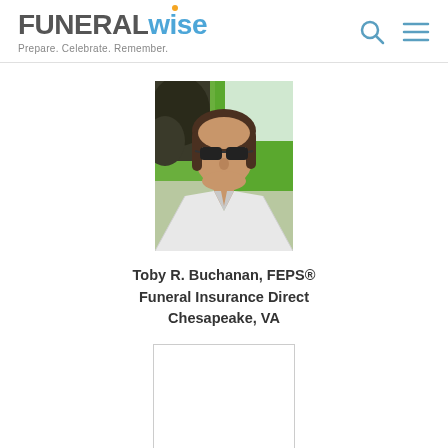FUNERALwise — Prepare. Celebrate. Remember.
[Figure (photo): Profile photo of Toby R. Buchanan, a man with sunglasses and dark hair wearing a white shirt, outdoors with green background]
Toby R. Buchanan, FEPS®
Funeral Insurance Direct
Chesapeake, VA
[Figure (other): Empty white box with light grey border below the profile info]